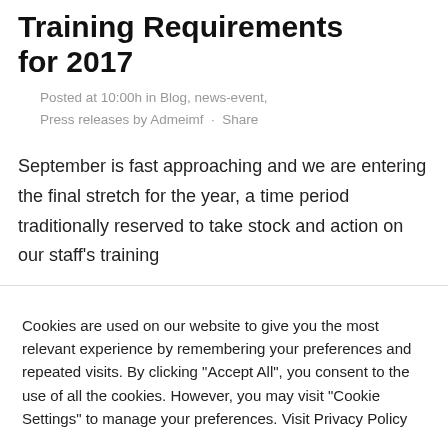Training Requirements for 2017
Posted at 10:00h in Blog, news-event, Press releases by Admeimf · Share
September is fast approaching and we are entering the final stretch for the year, a time period traditionally reserved to take stock and action on our staff's training
Cookies are used on our website to give you the most relevant experience by remembering your preferences and repeated visits. By clicking "Accept All", you consent to the use of all the cookies. However, you may visit "Cookie Settings" to manage your preferences. Visit Privacy Policy
Cookie settings | Accept All | REJECT